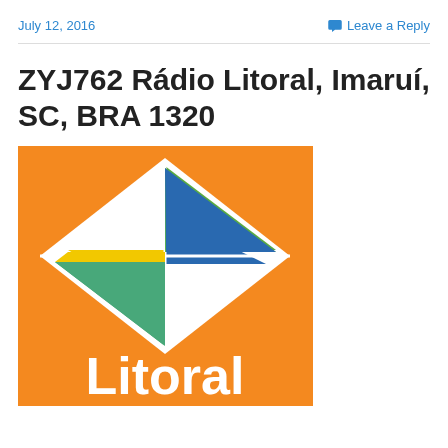July 12, 2016   Leave a Reply
ZYJ762 Rádio Litoral, Imaruí, SC, BRA 1320
[Figure (logo): Radio Litoral logo: orange square background with a diamond-shaped emblem made of overlapping triangles in green, yellow, blue, and teal/green colors, with white text 'Litoral' at the bottom.]